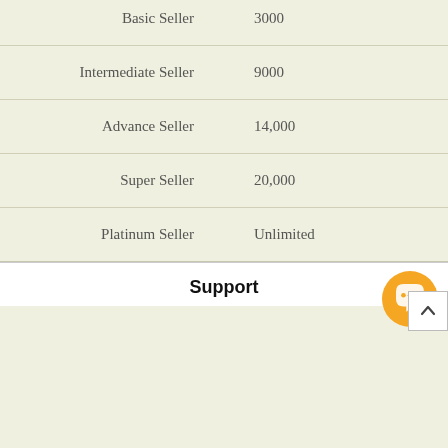| Seller Type | Value |
| --- | --- |
| Basic Seller | 3000 |
| Intermediate Seller | 9000 |
| Advance Seller | 14,000 |
| Super Seller | 20,000 |
| Platinum Seller | Unlimited |
Support